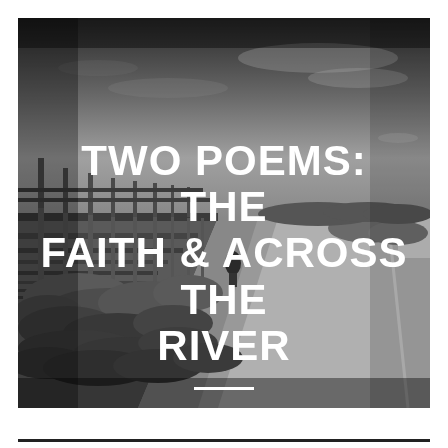[Figure (photo): Black and white photograph of a highway roadside with a metal fence/barrier on the left, dry brush and vegetation along the shoulder, road stretching into the distance, and trees on the horizon under a partly cloudy sky.]
TWO POEMS: THE FAITH & ACROSS THE RIVER
15TH JUN 2018 / JOHN PLUECKER / MISC, POETRY